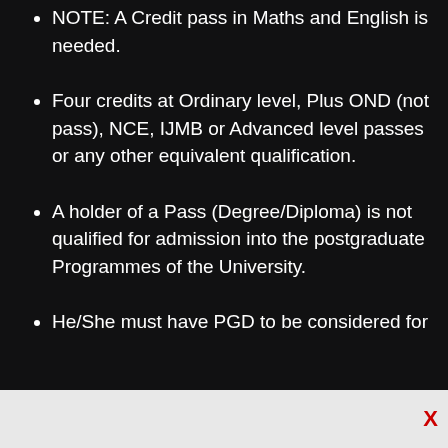NOTE: A Credit pass in Maths and English is needed.
Four credits at Ordinary level, Plus OND (not pass), NCE, IJMB or Advanced level passes or any other equivalent qualification.
A holder of a Pass (Degree/Diploma) is not qualified for admission into the postgraduate Programmes of the University.
He/She must have PGD to be considered for